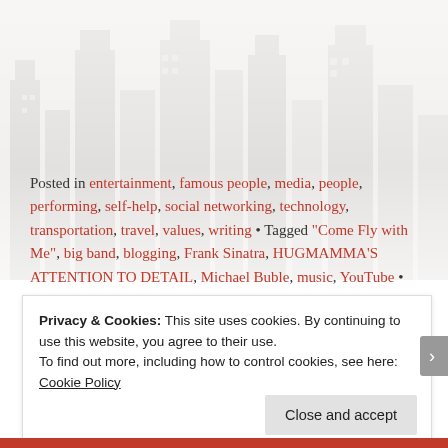[Figure (illustration): Faded city skyline watermark background image in light gray tones]
Posted in entertainment, famous people, media, people, performing, self-help, social networking, technology, transportation, travel, values, writing • Tagged "Come Fly with Me", big band, blogging, Frank Sinatra, HUGMAMMA'S ATTENTION TO DETAIL, Michael Buble, music, YouTube • Leave a comment
Privacy & Cookies: This site uses cookies. By continuing to use this website, you agree to their use.
To find out more, including how to control cookies, see here: Cookie Policy
Close and accept